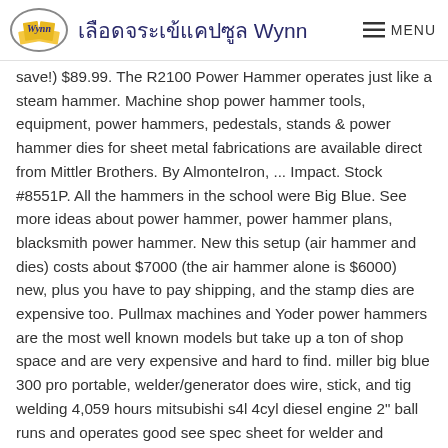เลือดจระเข้แคปซูล Wynn | MENU
save!) $89.99. The R2100 Power Hammer operates just like a steam hammer. Machine shop power hammer tools, equipment, power hammers, pedestals, stands & power hammer dies for sheet metal fabrications are available direct from Mittler Brothers. By AlmonteIron, ... Impact. Stock #8551P. All the hammers in the school were Big Blue. See more ideas about power hammer, power hammer plans, blacksmith power hammer. New this setup (air hammer and dies) costs about $7000 (the air hammer alone is $6000) new, plus you have to pay shipping, and the stamp dies are expensive too. Pullmax machines and Yoder power hammers are the most well known models but take up a ton of shop space and are very expensive and hard to find. miller big blue 300 pro portable, welder/generator does wire, stick, and tig welding 4,059 hours mitsubishi s4l 4cyl diesel engine 2" ball runs and operates good see spec sheet for welder and generator in pictures Posted April 21, 2016. srobb1976. Power